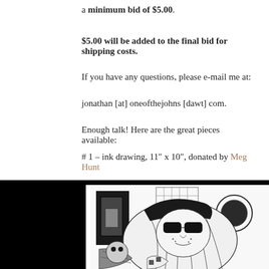a minimum bid of $5.00.
$5.00 will be added to the final bid for shipping costs.
If you have any questions, please e-mail me at:
jonathan [at] oneofthejohns [dawt] com.
Enough talk! Here are the great pieces available:
# 1 – ink drawing, 11" x 10", donated by Meg Hunt
[Figure (illustration): Black and white ink drawing by Meg Hunt showing an anime-style girl with large flowing hair, dark sunglasses, freckles, holding a cat, with decorative architectural elements in the background. The artwork is displayed on a white paper against a black background mat.]